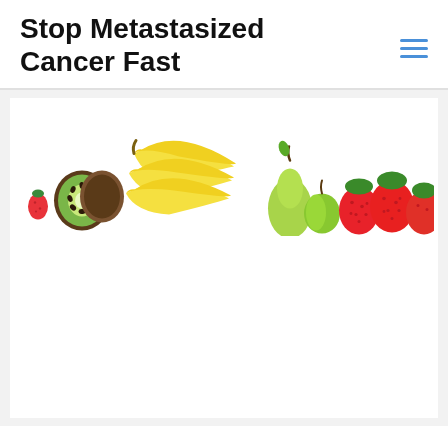Stop Metastasized Cancer Fast
[Figure (photo): A banner image showing assorted fruits on a white background: strawberry, kiwi slices, bananas, green pear, apple, and strawberries arranged in a row.]